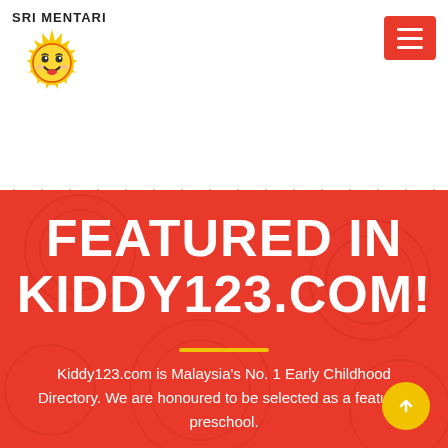[Figure (logo): Sri Mentari logo with sun cartoon character and text 'SRI MENTARI']
[Figure (other): Red hamburger menu button with three white horizontal lines]
FEATURED IN KIDDY123.COM!
Kiddy123.com is Malaysia's No. 1 Early Childhood Directory. We are honoured to be selected as a featured preschool.